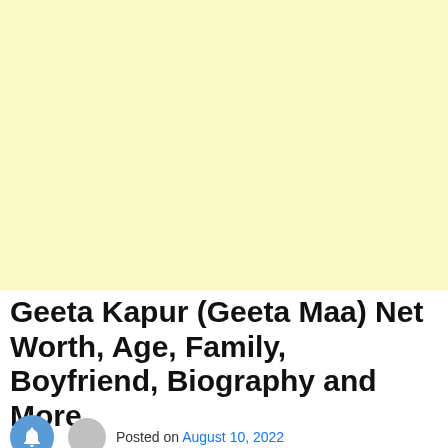[Figure (other): Light yellow advertisement or placeholder block occupying the top portion of the page]
Geeta Kapur (Geeta Maa) Net Worth, Age, Family, Boyfriend, Biography and More
Posted on August 10, 2022